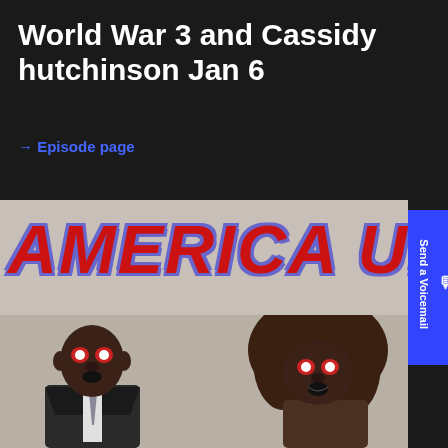World War 3 and Cassidy hutchinson Jan 6
→ Episode page
[Figure (photo): America Unplugged podcast cover art showing large red bold italic text 'AMERICA UNPLUGGED' on a gray background with two monster-masked characters below: a man in a suit on the left and a woman with large hair on the right]
[Figure (other): Send a Voicemail blue vertical button on the right side]